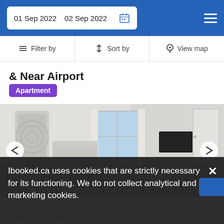01 Sep 2022  02 Sep 2022
Filter by  Sort by  View map
& Near Airport
Apartment
[Figure (photo): Interior photo of an apartment living/dining room with sofa, dining table with flowers, TV unit, window, and wall art.]
Ibooked.ca uses cookies that are strictly necessary for its functioning. We do not collect analytical and marketing cookies.
9.5 mi from City Centre